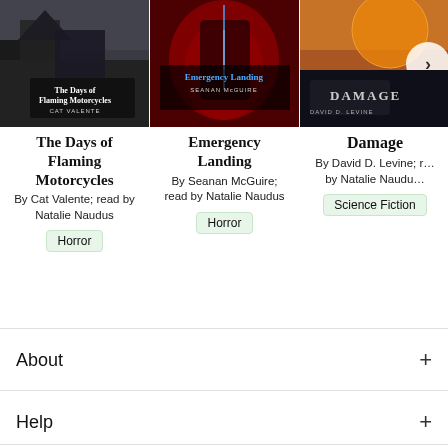[Figure (screenshot): Book cover for 'The Days of Flaming Motorcycles' by Cat Valente - dark atmospheric cover with ruins]
The Days of Flaming Motorcycles
By Cat Valente; read by Natalie Naudus
Horror
[Figure (screenshot): Book cover for 'Emergency Landing' by Seanan McGuire - dark red cover]
Emergency Landing
By Seanan McGuire; read by Natalie Naudus
Horror
[Figure (screenshot): Book cover for 'Damage' by David D. Levine - sci-fi cover partially visible]
Damage
By David D. Levine; read by Natalie Naudus
Science Fiction
About
Help